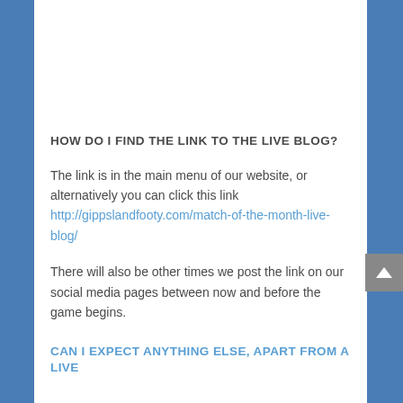HOW DO I FIND THE LINK TO THE LIVE BLOG?
The link is in the main menu of our website, or alternatively you can click this link http://gippslandfooty.com/match-of-the-month-live-blog/
There will also be other times we post the link on our social media pages between now and before the game begins.
CAN I EXPECT ANYTHING ELSE, APART FROM A LIVE